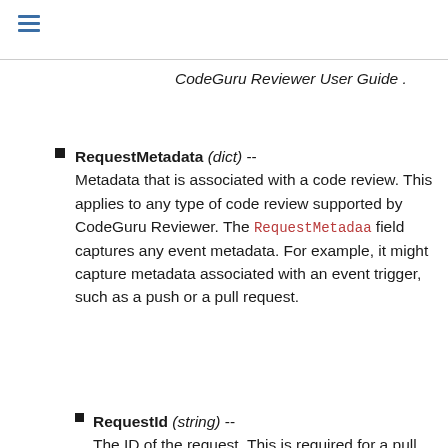CodeGuru Reviewer User Guide .
RequestMetadata (dict) -- Metadata that is associated with a code review. This applies to any type of code review supported by CodeGuru Reviewer. The RequestMetadaa field captures any event metadata. For example, it might capture metadata associated with an event trigger, such as a push or a pull request.
RequestId (string) -- The ID of the request. This is required for a pull request code review.